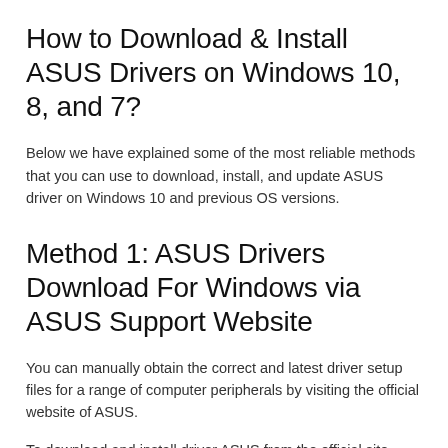How to Download & Install ASUS Drivers on Windows 10, 8, and 7?
Below we have explained some of the most reliable methods that you can use to download, install, and update ASUS driver on Windows 10 and previous OS versions.
Method 1: ASUS Drivers Download For Windows via ASUS Support Website
You can manually obtain the correct and latest driver setup files for a range of computer peripherals by visiting the official website of ASUS.
To download and install driver ASUS from the official site, follow the steps shared below: